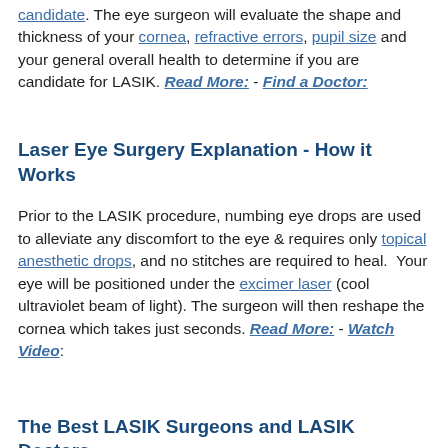candidate. The eye surgeon will evaluate the shape and thickness of your cornea, refractive errors, pupil size and your general overall health to determine if you are candidate for LASIK. Read More: - Find a Doctor:
Laser Eye Surgery Explanation - How it Works
Prior to the LASIK procedure, numbing eye drops are used to alleviate any discomfort to the eye & requires only topical anesthetic drops, and no stitches are required to heal.  Your eye will be positioned under the excimer laser (cool ultraviolet beam of light). The surgeon will then reshape the cornea which takes just seconds. Read More: - Watch Video:
The Best LASIK Surgeons and LASIK Doctors